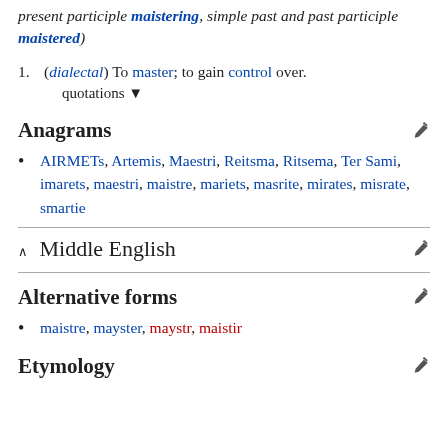present participle maistering, simple past and past participle maistered)
(dialectal) To master; to gain control over.
quotations ▼
Anagrams
AIRMETs, Artemis, Maestri, Reitsma, Ritsema, Ter Sami, imarets, maestri, maistre, mariets, masrite, mirates, misrate, smartie
Middle English
Alternative forms
maistre, mayster, maystr, maistir
Etymology